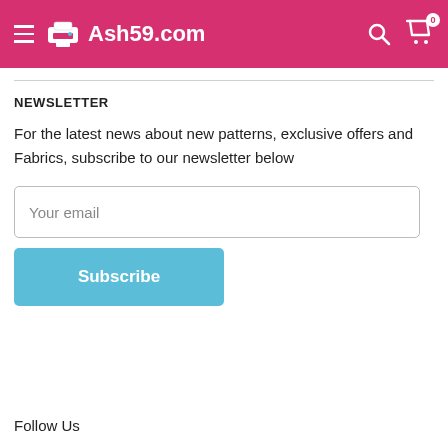Ash59.com
NEWSLETTER
For the latest news about new patterns, exclusive offers and Fabrics, subscribe to our newsletter below
Your email
Subscribe
Follow Us